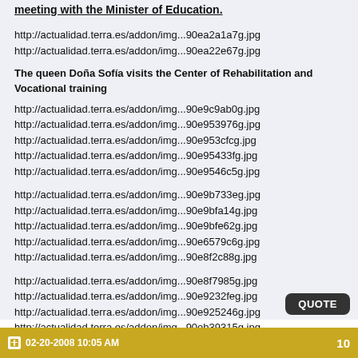meeting with the Minister of Education.
http://actualidad.terra.es/addon/img...90ea2a1a7g.jpg
http://actualidad.terra.es/addon/img...90ea22e67g.jpg
The queen Doña Sofía visits the Center of Rehabilitation and Vocational training
http://actualidad.terra.es/addon/img...90e9c9ab0g.jpg
http://actualidad.terra.es/addon/img...90e953976g.jpg
http://actualidad.terra.es/addon/img...90e953cfcg.jpg
http://actualidad.terra.es/addon/img...90e95433fg.jpg
http://actualidad.terra.es/addon/img...90e9546c5g.jpg
http://actualidad.terra.es/addon/img...90e9b733eg.jpg
http://actualidad.terra.es/addon/img...90e9bfa14g.jpg
http://actualidad.terra.es/addon/img...90e9bfe62g.jpg
http://actualidad.terra.es/addon/img...90e6579c6g.jpg
http://actualidad.terra.es/addon/img...90e8f2c88g.jpg
http://actualidad.terra.es/addon/img...90e8f7985g.jpg
http://actualidad.terra.es/addon/img...90e9232feg.jpg
http://actualidad.terra.es/addon/img...90e925246g.jpg
http://actualidad.terra.es/addon/img...90eb39315g.jpg
02-20-2008 10:05 AM   10